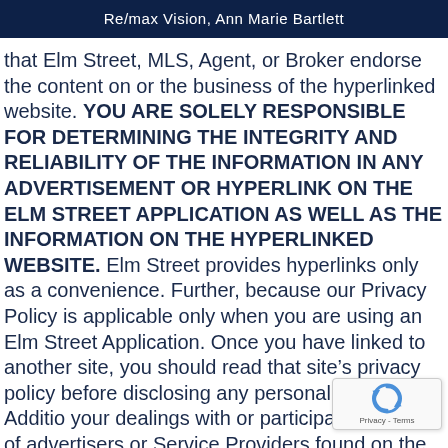Re/max Vision, Ann Marie Bartlett
that Elm Street, MLS, Agent, or Broker endorse the content on or the business of the hyperlinked website. YOU ARE SOLELY RESPONSIBLE FOR DETERMINING THE INTEGRITY AND RELIABILITY OF THE INFORMATION IN ANY ADVERTISEMENT OR HYPERLINK ON THE ELM STREET APPLICATION AS WELL AS THE INFORMATION ON THE HYPERLINKED WEBSITE. Elm Street provides hyperlinks only as a convenience. Further, because our Privacy Policy is applicable only when you are using an Elm Street Application. Once you have linked to another site, you should read that site’s privacy policy before disclosing any personal information. Additio your dealings with or participation in prom of advertisers or Service Providers found on the
[Figure (other): reCAPTCHA widget overlay showing recaptcha icon and Privacy - Terms text]